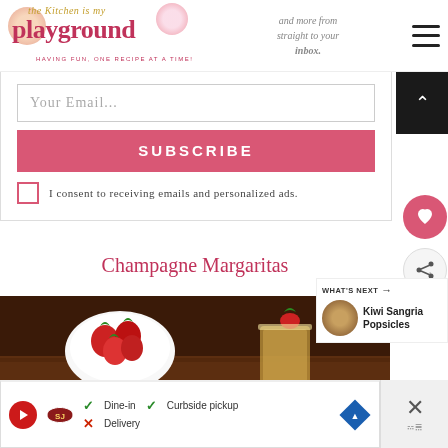The Kitchen is My Playground — playground — HAVING FUN, ONE RECIPE AT A TIME!
and more from straight to your inbox.
Your Email...
SUBSCRIBE
I consent to receiving emails and personalized ads.
Champagne Margaritas
WHAT'S NEXT → Kiwi Sangria Popsicles
[Figure (photo): Bowl of fresh strawberries and a drink on a wooden table]
Dine-in  Curbside pickup  Delivery